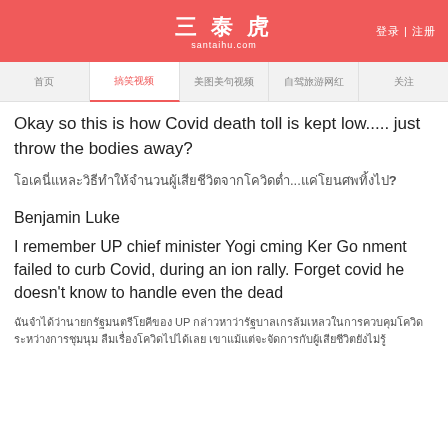三泰虎 santaihu.com
登录 | 注册
首页 | 搞笑视频 | 美图美句视频 | 自驾旅游网红 | 关注
Okay so this is how Covid death toll is kept low..... just throw the bodies away?
โอเคนี่แหละวิธีทำให้จำนวนผู้เสียชีวิตจากโควิดต่ำ...แค่โยนศพทิ้งไป?
Benjamin Luke
I remember UP chief minister Yogi cming Ker Go nment failed to curb Covid, during an ion rally. Forget covid he doesn't know to handle even the dead
ฉันจำได้ว่านายกรัฐมนตรีโยคีของ UP กล่าวหาว่ารัฐบาลเกรล้มเหลวในการควบคุมโควิดระหว่างการชุมนุม ลืมเรื่องโควิดไปได้เลย เขาแม้แต่จะจัดการกับผู้เสียชีวิตยังไม่รู้